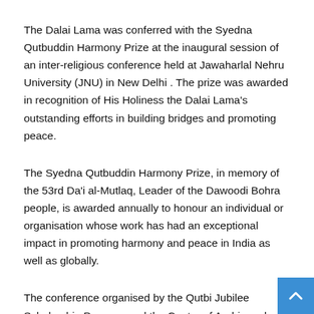The Dalai Lama was conferred with the Syedna Qutbuddin Harmony Prize at the inaugural session of an inter-religious conference held at Jawaharlal Nehru University (JNU) in New Delhi . The prize was awarded in recognition of His Holiness the Dalai Lama's outstanding efforts in building bridges and promoting peace.
The Syedna Qutbuddin Harmony Prize, in memory of the 53rd Da'i al-Mutlaq, Leader of the Dawoodi Bohra people, is awarded annually to honour an individual or organisation whose work has had an exceptional impact in promoting harmony and peace in India as well as globally.
The conference organised by the Qutbi Jubilee Scholarship Program and the Centre of Arabic and African Studies of JNU was attended by spiritual leaders from various traditions including Syedna Taher Fakhruddin (member of OJSP), past...